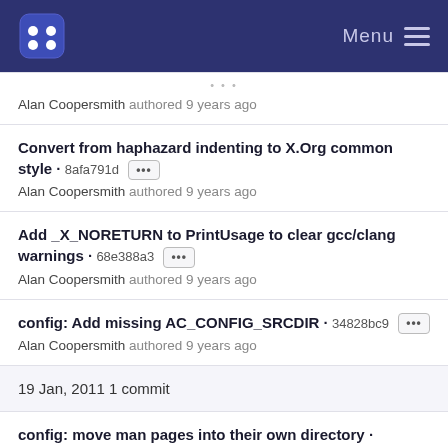Menu
Alan Coopersmith authored 9 years ago
Convert from haphazard indenting to X.Org common style · 8afa791d ··· Alan Coopersmith authored 9 years ago
Add _X_NORETURN to PrintUsage to clear gcc/clang warnings · 68e388a3 ··· Alan Coopersmith authored 9 years ago
config: Add missing AC_CONFIG_SRCDIR · 34828bc9 ··· Alan Coopersmith authored 9 years ago
19 Jan, 2011 1 commit
config: move man pages into their own directory · c472d2d7 ··· Gaetan Nadon authored 11 years ago
13 Jan, 2011 1 commit